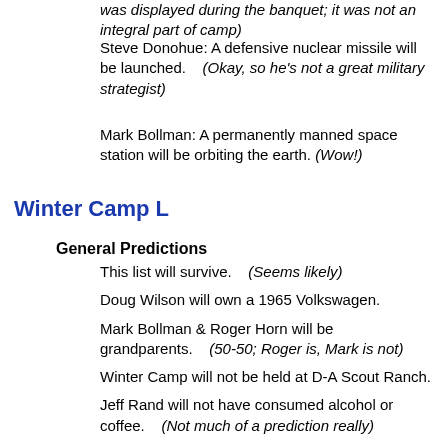was displayed during the banquet; it was not an integral part of camp)
Steve Donohue: A defensive nuclear missile will be launched.    (Okay, so he's not a great military strategist)
Mark Bollman: A permanently manned space station will be orbiting the earth.  (Wow!)
Winter Camp L
General Predictions
This list will survive.    (Seems likely)
Doug Wilson will own a 1965 Volkswagen.
Mark Bollman & Roger Horn will be grandparents.    (50-50; Roger is, Mark is not)
Winter Camp will not be held at D-A Scout Ranch.
Jeff Rand will not have consumed alcohol or coffee.    (Not much of a prediction really)
Mark Bollman will sort the poker chips.